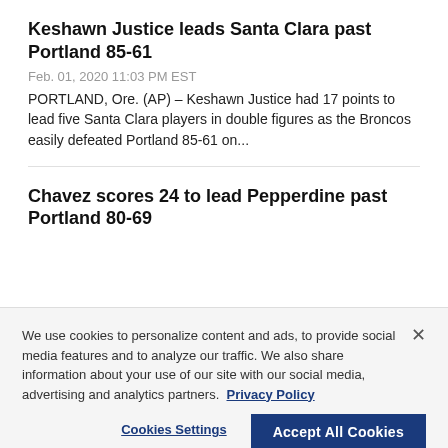Keshawn Justice leads Santa Clara past Portland 85-61
Feb. 01, 2020 11:03 PM EST
PORTLAND, Ore. (AP) – Keshawn Justice had 17 points to lead five Santa Clara players in double figures as the Broncos easily defeated Portland 85-61 on...
Chavez scores 24 to lead Pepperdine past Portland 80-69
We use cookies to personalize content and ads, to provide social media features and to analyze our traffic. We also share information about your use of our site with our social media, advertising and analytics partners. Privacy Policy
Cookies Settings | Accept All Cookies